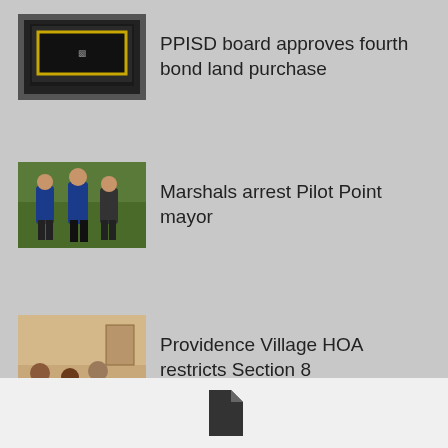[Figure (photo): Thumbnail image of a presentation screen/board with yellow border]
PPISD board approves fourth bond land purchase
[Figure (photo): Thumbnail image of marshals/police officers standing outside]
Marshals arrest Pilot Point mayor
[Figure (photo): Thumbnail image of people in a meeting room]
Providence Village HOA restricts Section 8
Archive
[Figure (infographic): Social media icons: Facebook, Twitter, Google+]